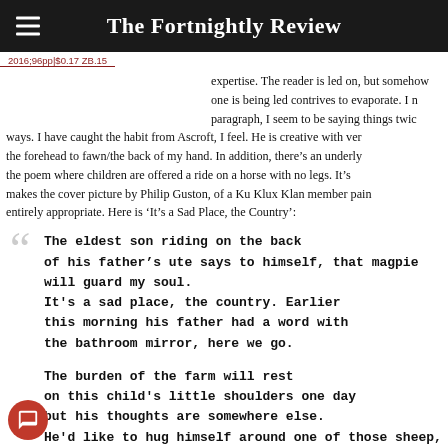The Fortnightly Review
2016;96pp|$0.17 ZB.15
expertise. The reader is led on, but somehow one is being led contrives to evaporate. I n paragraph, I seem to be saying things twic ways. I have caught the habit from Ascroft, I feel. He is creative with ver the forehead to fawn/the back of my hand. In addition, there’s an underly the poem where children are offered a ride on a horse with no legs. It’s makes the cover picture by Philip Guston, of a Ku Klux Klan member pain entirely appropriate. Here is ‘It’s a Sad Place, the Country’:
The eldest son riding on the back
of his father’s ute says to himself, that magpie
will guard my soul.
It’s a sad place, the country. Earlier
this morning his father had a word with
the bathroom mirror, here we go.

The burden of the farm will rest
on this child’s little shoulders one day
but his thoughts are somewhere else.
He’d like to hug himself around one of those sheep,
squeeze it like a beach ball.